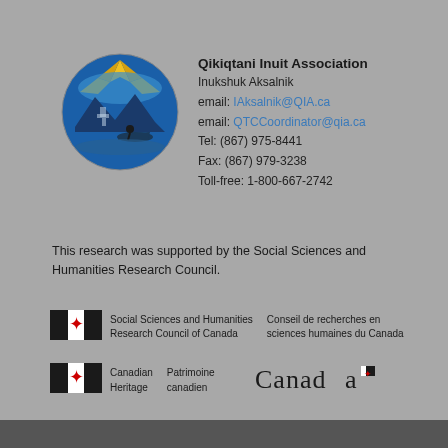[Figure (logo): Qikiqtani Inuit Association circular logo with blue background, yellow sun rays, and silhouette of Arctic landscape with person on snowmobile]
Qikiqtani Inuit Association
Inukshuk Aksalnik
email: IAksalnik@QIA.ca
email: QTCCoordinator@qia.ca
Tel: (867) 975-8441
Fax: (867) 979-3238
Toll-free: 1-800-667-2742
This research was supported by the Social Sciences and Humanities Research Council.
[Figure (logo): Canadian government flag wordmark with maple leaf]
Social Sciences and Humanities Research Council of Canada
Conseil de recherches en sciences humaines du Canada
[Figure (logo): Canadian Heritage / Patrimoine canadien flag wordmark]
Canadian Heritage    Patrimoine canadien
[Figure (logo): Canada wordmark in black serif font with small maple leaf flag symbol]